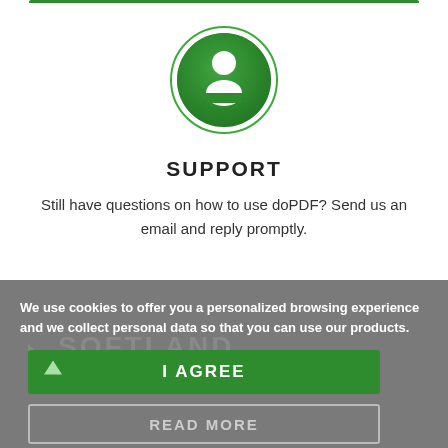[Figure (illustration): Green circle icon with a white person/user silhouette in the center, with a thin green ring border around it]
SUPPORT
Still have questions on how to use doPDF? Send us an email and reply promptly.
We use cookies to offer you a personalized browsing experience and we collect personal data so that you can use our products.
I AGREE
READ MORE